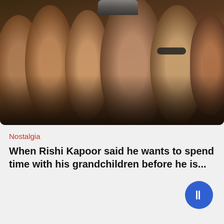[Figure (photo): Group photo of several people smiling together, appears to be Bollywood celebrities including a young man in a NY cap in the center and a woman with sunglasses to his right.]
Nostalgia
When Rishi Kapoor said he wants to spend time with his grandchildren before he is...